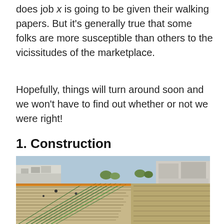does job x is going to be given their walking papers. But it's generally true that some folks are more susceptible than others to the vicissitudes of the marketplace.
Hopefully, things will turn around soon and we won't have to find out whether or not we were right!
1. Construction
[Figure (photo): Aerial view of a large construction site with rebar and conduit laid out on a concrete foundation, with buildings visible in the background.]